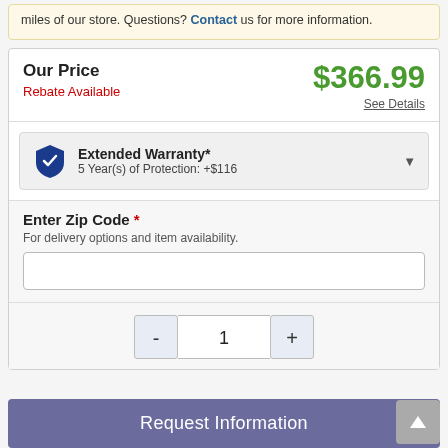miles of our store. Questions? Contact us for more information.
Our Price
$366.99
Rebate Available
See Details
Extended Warranty*
5 Year(s) of Protection: +$116
Enter Zip Code *
For delivery options and item availability.
- 1 +
Request Information